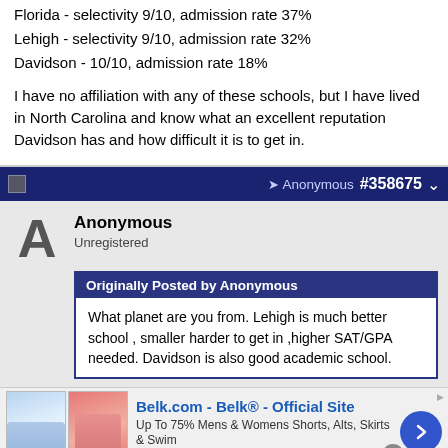Florida - selectivity 9/10, admission rate 37%
Lehigh - selectivity 9/10, admission rate 32%
Davidson - 10/10, admission rate 18%
I have no affiliation with any of these schools, but I have lived in North Carolina and know what an excellent reputation Davidson has and how difficult it is to get in.
Anonymous #358675
Anonymous
Unregistered
Originally Posted by Anonymous
What planet are you from. Lehigh is much better school , smaller harder to get in ,higher SAT/GPA needed. Davidson is also good academic school.
[Figure (other): Advertisement for Belk.com - Belk Official Site. Up To 75% Mens & Womens Shorts, Alts, Skirts & Swim. www.belk.com]